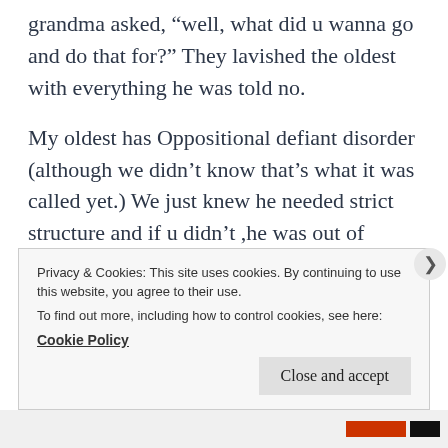grandma asked, “well, what did u wanna go and do that for?” They lavished the oldest with everything he was told no.
My oldest has Oppositional defiant disorder (although we didn’t know that’s what it was called yet.) We just knew he needed strict structure and if u didn’t ,he was out of control. My oldest wet the bed on purpose, stole anything and everything that he could get his hands on and wasn’t nailed down. Cell phones, wallets, keys, money, food, drink, toys… he was 4 yrs old
Privacy & Cookies: This site uses cookies. By continuing to use this website, you agree to their use.
To find out more, including how to control cookies, see here: Cookie Policy